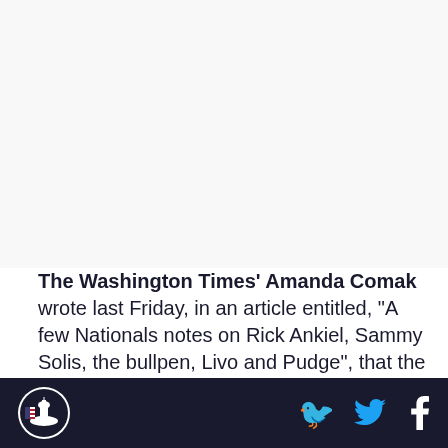[Figure (other): Blank/white image placeholder area at the top of the article page]
The Washington Times' Amanda Comak wrote last Friday, in an article entitled, "A few Nationals notes on Rick Ankiel, Sammy Solis, the bullpen, Livo and Pudge", that the 23-year-old Solis was, "... over the strep throat that plagued him during December but he
Washington Times logo | Twitter icon | Facebook icon